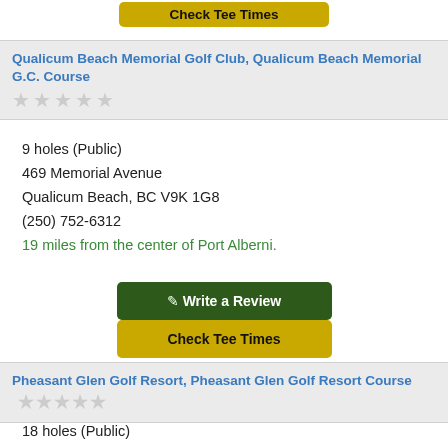[Figure (other): Partially visible yellow Check Tee Times button at top of page]
Qualicum Beach Memorial Golf Club, Qualicum Beach Memorial G.C. Course
9 holes (Public)
469 Memorial Avenue
Qualicum Beach, BC V9K 1G8
(250) 752-6312
19 miles from the center of Port Alberni.
[Figure (other): Write a Review button (dark green)]
[Figure (other): Check Tee Times button (yellow/gold)]
Pheasant Glen Golf Resort, Pheasant Glen Golf Resort Course
18 holes (Public)
1025 Qualicum Road
Qualicum Beach, BC V9K 1M5
(250) 752-8786
19 miles from the center of Port Alberni.